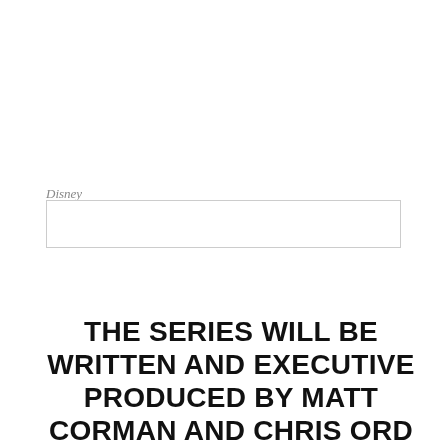Disney
THE SERIES WILL BE WRITTEN AND EXECUTIVE PRODUCED BY MATT CORMAN AND CHRIS ORD